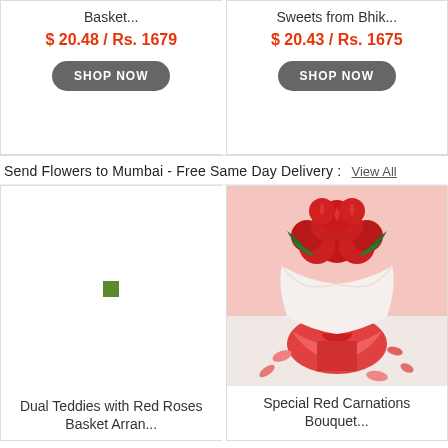Basket...
$ 20.48 / Rs. 1679
SHOP NOW
Sweets from Bhik...
$ 20.43 / Rs. 1675
SHOP NOW
Send Flowers to Mumbai - Free Same Day Delivery :
View All
Dual Teddies with Red Roses Basket Arran...
[Figure (photo): Red carnations bouquet wrapped in red paper with bow, pink background, scattered petals]
Special Red Carnations Bouquet...